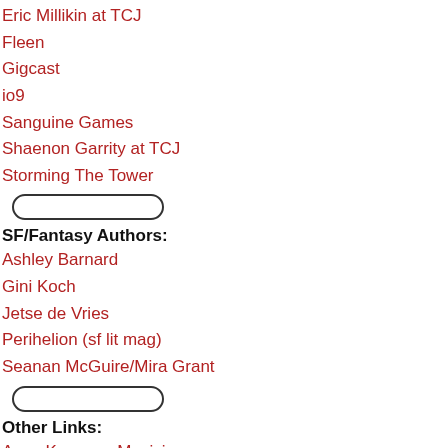Eric Millikin at TCJ
Fleen
Gigcast
io9
Sanguine Games
Shaenon Garrity at TCJ
Storming The Tower
SF/Fantasy Authors:
Ashley Barnard
Gini Koch
Jetse de Vries
Perihelion (sf lit mag)
Seanan McGuire/Mira Grant
Other Links:
Anya Kozorez, Musician
Cedra Wood, painter
Dan Wolff, Cockroach: